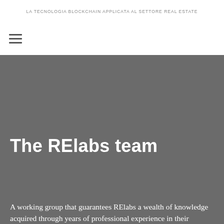LA TECNOLOGIA BLOCKCHAIN APPLICATA AL SETTORE REAL ESTATE
[Figure (other): Hamburger menu icon (three horizontal lines)]
The RElabs team
A working group that guarantees RElabs a wealth of knowledge acquired through years of professional experience in their